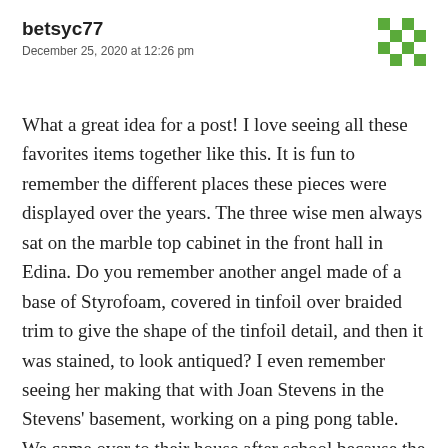betsyc77
December 25, 2020 at 12:26 pm
What a great idea for a post! I love seeing all these favorites items together like this. It is fun to remember the different places these pieces were displayed over the years. The three wise men always sat on the marble top cabinet in the front hall in Edina. Do you remember another angel made of a base of Styrofoam, covered in tinfoil over braided trim to give the shape of the tinfoil detail, and then it was stained, to look antiqued? I even remember seeing her making that with Joan Stevens in the Stevens' basement, working on a ping pong table. We came over to their house after school because the two moms had spent the afternoon making these angels. Bet it was an idea from a magazine. That angel was around for years,